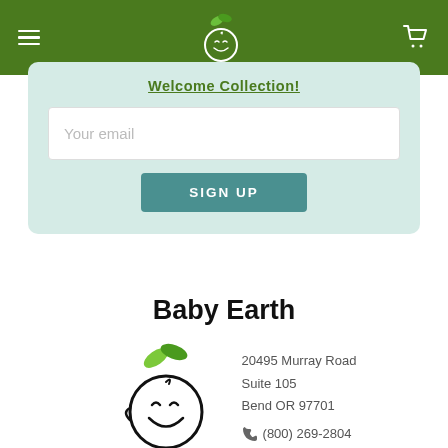Baby Earth navigation bar with logo and cart
Welcome Collection!
Your email
SIGN UP
Baby Earth
20495 Murray Road
Suite 105
Bend OR 97701
(800) 269-2804